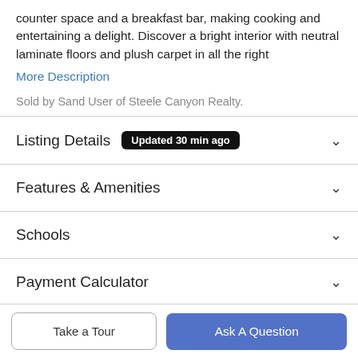counter space and a breakfast bar, making cooking and entertaining a delight. Discover a bright interior with neutral laminate floors and plush carpet in all the right
More Description
Sold by Sand User of Steele Canyon Realty.
Listing Details  Updated 30 min ago
Features & Amenities
Schools
Payment Calculator
Take a Tour
Ask A Question